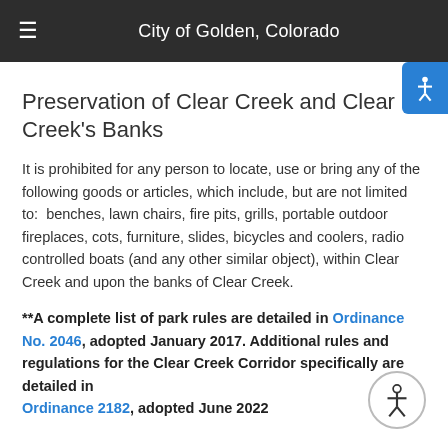City of Golden, Colorado
Preservation of Clear Creek and Clear Creek's Banks
It is prohibited for any person to locate, use or bring any of the following goods or articles, which include, but are not limited to:  benches, lawn chairs, fire pits, grills, portable outdoor fireplaces, cots, furniture, slides, bicycles and coolers, radio controlled boats (and any other similar object), within Clear Creek and upon the banks of Clear Creek.
**A complete list of park rules are detailed in Ordinance No. 2046, adopted January 2017. Additional rules and regulations for the Clear Creek Corridor specifically are detailed in Ordinance 2182, adopted June 2022.